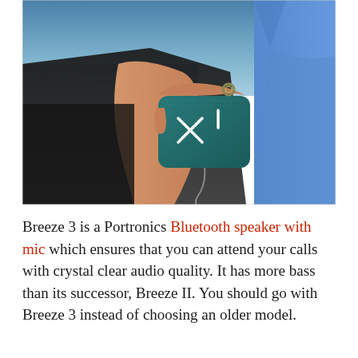[Figure (photo): A person holding a teal/dark green Portronics Breeze 3 Bluetooth speaker with a textured surface and X/plus button markings, near a beach setting. The person is wearing a blue shirt and holding a black bag.]
Breeze 3 is a Portronics Bluetooth speaker with mic which ensures that you can attend your calls with crystal clear audio quality. It has more bass than its successor, Breeze II. You should go with Breeze 3 instead of choosing an older model.